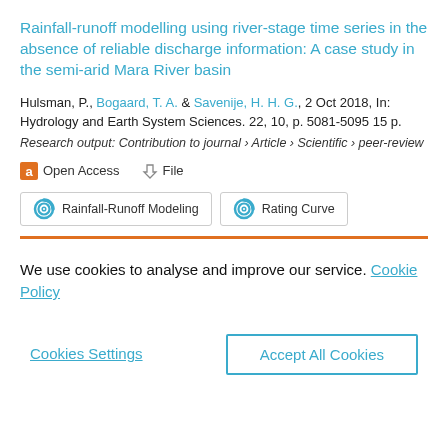Rainfall-runoff modelling using river-stage time series in the absence of reliable discharge information: A case study in the semi-arid Mara River basin
Hulsman, P., Bogaard, T. A. & Savenije, H. H. G., 2 Oct 2018, In: Hydrology and Earth System Sciences. 22, 10, p. 5081-5095 15 p.
Research output: Contribution to journal › Article › Scientific › peer-review
Open Access   File
Rainfall-Runoff Modeling   Rating Curve
We use cookies to analyse and improve our service. Cookie Policy
Cookies Settings
Accept All Cookies